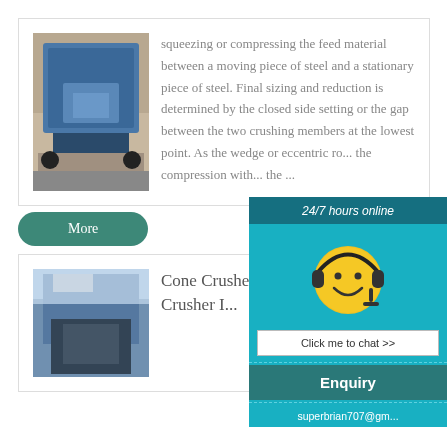[Figure (photo): Blue mobile crushing machine/crusher on tracks outdoors near sand/gravel]
squeezing or compressing the feed material between a moving piece of steel and a stationary piece of steel. Final sizing and reduction is determined by the closed side setting or the gap between the two crushing members at the lowest point. As the wedge or eccentric ro... the compression with... the ...
More
[Figure (photo): Industrial building with sign, blue sky with clouds]
Cone Crusher S... Crusher Mills, ... Crusher I...
[Figure (infographic): 24/7 hours online chat widget with smiley face wearing headset, Click me to chat >> button, Enquiry section, and email superbrian707@g...]